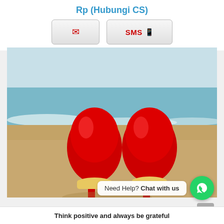Rp (Hubungi CS)
[Figure (other): Two red high-heel shoes standing on a sandy beach with ocean waves in the background. Watermark '500px' visible in lower left corner.]
Need Help? Chat with us
Think positive and always be grateful